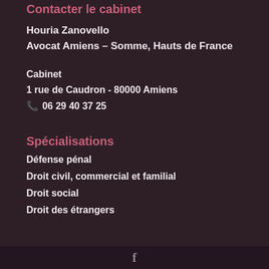Contacter le cabinet
Houria Zanovello
Avocat Amiens – Somme, Hauts de France
Cabinet
1 rue de Caudron - 80000 Amiens
06 29 40 37 25
Spécialisations
Défense pénal
Droit civil, commercial et familial
Droit social
Droit des étrangers
f